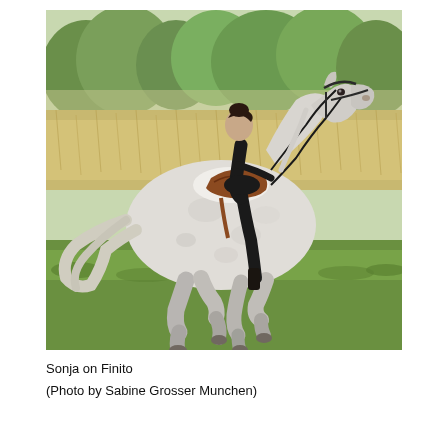[Figure (photo): A woman dressed in black riding a white/grey dappled horse in a field. The horse is in a collected trot or passage movement. The rider sits elegantly in a brown saddle. Background shows green grass, golden/amber field grasses, and trees. Photo taken outdoors in natural light.]
Sonja on Finito
(Photo by Sabine Grosser Munchen)